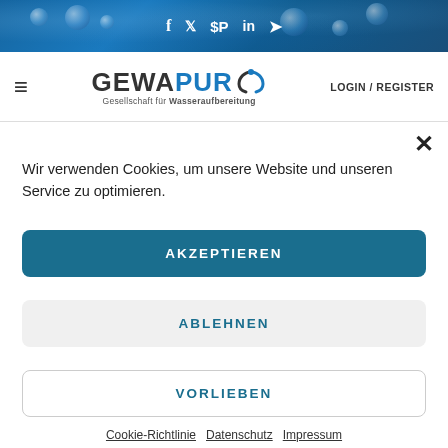[Figure (screenshot): Website header banner with blue water droplet background and social media icons (Facebook, Twitter, Pinterest, LinkedIn, Telegram)]
[Figure (logo): GEWAPUR logo with blue circular icon and tagline 'Gesellschaft für Wasseraufbereitung']
LOGIN / REGISTER
×
Wir verwenden Cookies, um unsere Website und unseren Service zu optimieren.
AKZEPTIEREN
ABLEHNEN
VORLIEBEN
Cookie-Richtlinie   Datenschutz   Impressum